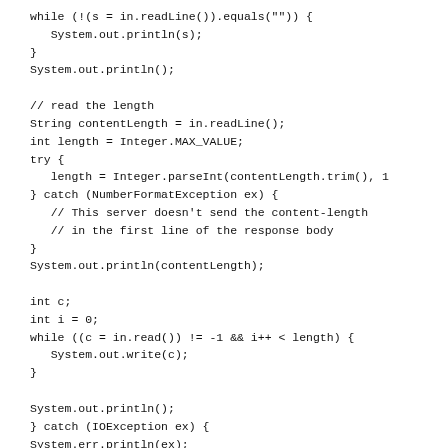while (!(s = in.readLine()).equals("")) {
   System.out.println(s);
}
System.out.println();

// read the length
String contentLength = in.readLine();
int length = Integer.MAX_VALUE;
try {
   length = Integer.parseInt(contentLength.trim(), 1
} catch (NumberFormatException ex) {
   // This server doesn't send the content-length
   // in the first line of the response body
}
System.out.println(contentLength);

int c;
int i = 0;
while ((c = in.read()) != -1 && i++ < length) {
   System.out.write(c);
}

System.out.println();
} catch (IOException ex) {
System.err.println(ex);
} finally {
   try {